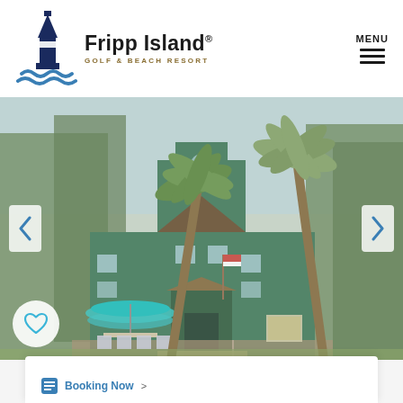[Figure (logo): Fripp Island Golf & Beach Resort logo with lighthouse icon and blue wave]
MENU
[Figure (photo): Exterior photo of a green multi-story beach house with palm trees, teal outdoor umbrellas, porch seating, and an American flag. Navigation arrows on left and right sides, heart/favorite button in bottom-left corner.]
[Figure (other): Partial white card at bottom of page, beginning of property listing]